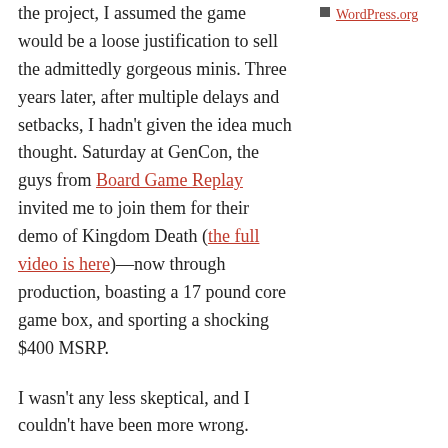the project, I assumed the game would be a loose justification to sell the admittedly gorgeous minis. Three years later, after multiple delays and setbacks, I hadn't given the idea much thought. Saturday at GenCon, the guys from Board Game Replay invited me to join them for their demo of Kingdom Death (the full video is here)—now through production, boasting a 17 pound core game box, and sporting a shocking $400 MSRP.
I wasn't any less skeptical, and I couldn't have been more wrong.
Continue reading →
Posted in Board Games, Reviews   1 Comment
Tagged Board Games, Kingdom Death, Miniatures, Reviews
WordPress.org